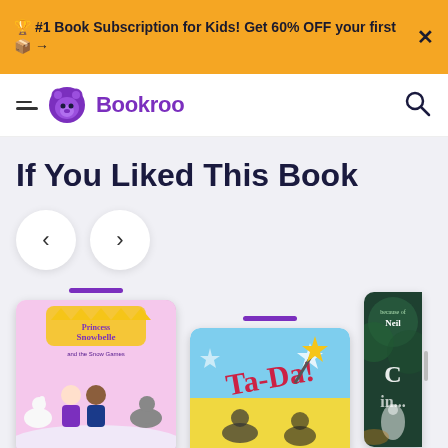🏆 #1 Book Subscription for Kids! Get 60% OFF your first 📦 →
[Figure (logo): Bookroo logo with purple bear icon and brand name]
If You Liked This Book
[Figure (illustration): Navigation arrows: left chevron and right chevron in circular white buttons]
[Figure (illustration): Book cover: Princess Snowbelle and the Snow Games]
[Figure (illustration): Book cover: Ta-Da!]
[Figure (illustration): Partial book cover on right edge, appears to be Neil Gaiman's Cinderella, dark green with white figure]